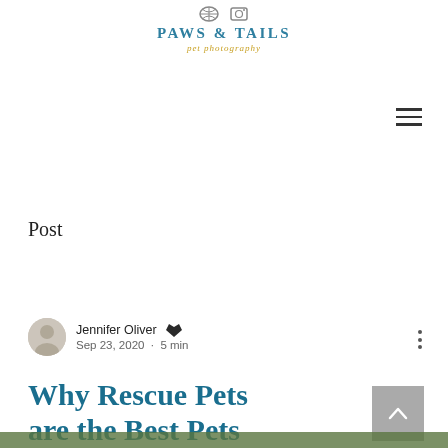PAWS & TAILS pet photography
Post
Jennifer Oliver · Sep 23, 2020 · 5 min
Why Rescue Pets are the Best Pets